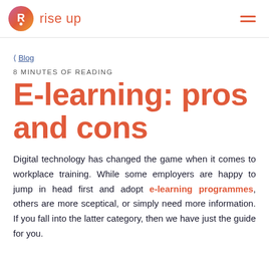rise up
< Blog
8 MINUTES OF READING
E-learning: pros and cons
Digital technology has changed the game when it comes to workplace training. While some employers are happy to jump in head first and adopt e-learning programmes, others are more sceptical, or simply need more information. If you fall into the latter category, then we have just the guide for you.